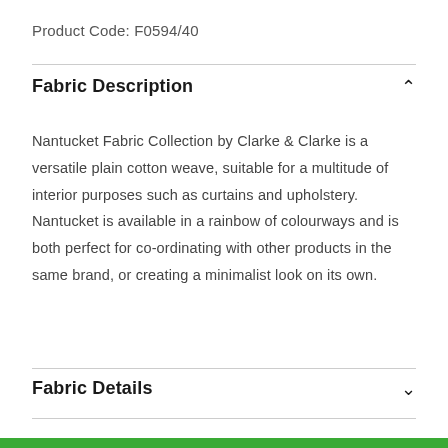Product Code: F0594/40
Fabric Description
Nantucket Fabric Collection by Clarke & Clarke is a versatile plain cotton weave, suitable for a multitude of interior purposes such as curtains and upholstery. Nantucket is available in a rainbow of colourways and is both perfect for co-ordinating with other products in the same brand, or creating a minimalist look on its own.
Fabric Details